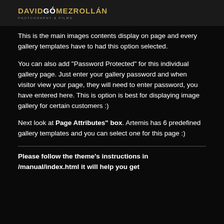DAVID GÓMEZ ROLLÁN PHOTOGRAPHY & FILMS
This is the main images contents display on page and every gallery templates have to had this option selected.
You can also add "Password Protected" for this individual gallery page. Just enter your gallery password and when visitor view your page, they will need to enter password, you have entered here. This is option is best for displaying image gallery for certain customers :)
Next look at Page Attributes" box. Artemis has 6 predefined gallery templates and you can select one for this page :)
Please follow the theme's instructions in /manual/index.html it will help you get